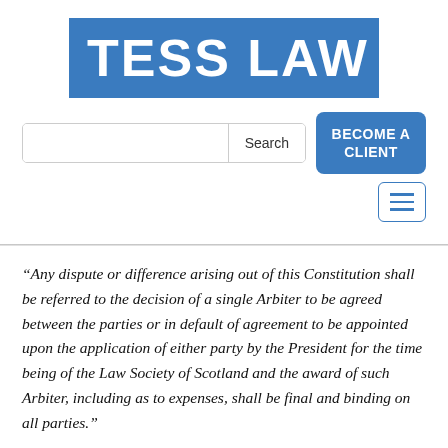[Figure (logo): Tess Law logo — white bold text on blue rectangle background]
[Figure (screenshot): Search bar with Search button and blue BECOME A CLIENT button]
[Figure (other): Hamburger menu icon button with three horizontal lines, blue border]
“Any dispute or difference arising out of this Constitution shall be referred to the decision of a single Arbiter to be agreed between the parties or in default of agreement to be appointed upon the application of either party by the President for the time being of the Law Society of Scotland and the award of such Arbiter, including as to expenses, shall be final and binding on all parties.”